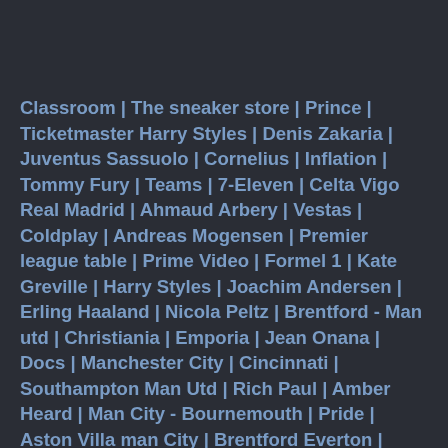Classroom | The sneaker store | Prince | Ticketmaster Harry Styles | Denis Zakaria | Juventus Sassuolo | Cornelius | Inflation | Tommy Fury | Teams | 7-Eleven | Celta Vigo Real Madrid | Ahmaud Arbery | Vestas | Coldplay | Andreas Mogensen | Premier league table | Prime Video | Formel 1 | Kate Greville | Harry Styles | Joachim Andersen | Erling Haaland | Nicola Peltz | Brentford - Man utd | Christiania | Emporia | Jean Onana | Docs | Manchester City | Cincinnati | Southampton Man Utd | Rich Paul | Amber Heard | Man City - Bournemouth | Pride | Aston Villa man City | Brentford Everton | Recession | Cavani | Tramadol | Peppermint | Lille PSG | Transfer news | Ob | Casey Affleck | Barcelona . Man City | AMC stock | Office | Beverly Hills, 90210 | Angelina